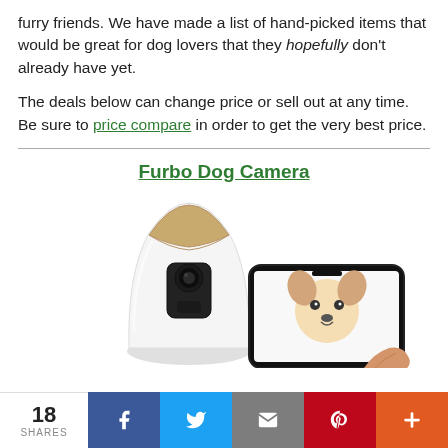furry friends. We have made a list of hand-picked items that would be great for dog lovers that they hopefully don't already have yet.
The deals below can change price or sell out at any time. Be sure to price compare in order to get the very best price.
Furbo Dog Camera
[Figure (photo): Photo of the Furbo Dog Camera device (white cylindrical camera with bamboo top) next to a smartphone showing a dog on screen]
18 SHARES | Facebook | Twitter | Email | Pinterest | More